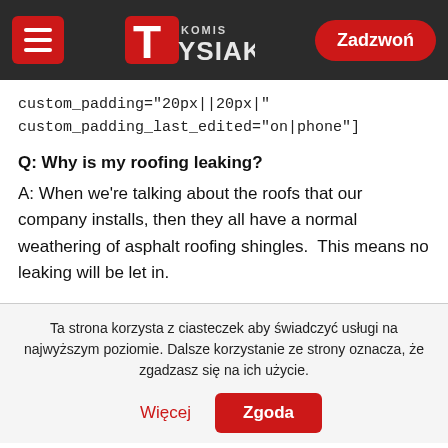Komis Tysiak — header with menu, logo, Zadzwoń button
custom_padding="20px||20px|"
custom_padding_last_edited="on|phone"]
Q: Why is my roofing leaking?
A: When we're talking about the roofs that our company installs, then they all have a normal weathering of asphalt roofing shingles.  This means no leaking will be let in.
Ta strona korzysta z ciasteczek aby świadczyć usługi na najwyższym poziomie. Dalsze korzystanie ze strony oznacza, że zgadzasz się na ich użycie.
Więcej  Zgoda